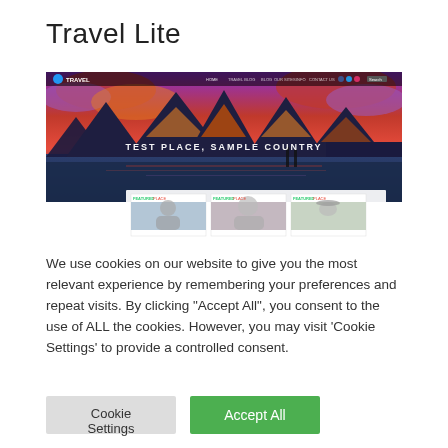Travel Lite
[Figure (screenshot): Screenshot of Travel Lite WordPress theme showing a website with a dramatic red-purple mountain and lake hero image with text 'TEST PLACE, SAMPLE COUNTRY', a navigation bar with 'TRAVEL' logo, social icons, and three featured place cards at the bottom.]
We use cookies on our website to give you the most relevant experience by remembering your preferences and repeat visits. By clicking "Accept All", you consent to the use of ALL the cookies. However, you may visit 'Cookie Settings' to provide a controlled consent.
Cookie Settings
Accept All